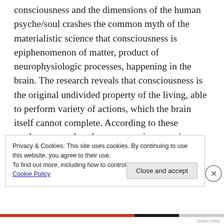consciousness and the dimensions of the human psyche/soul crashes the common myth of the materialistic science that consciousness is epiphenomenon of matter, product of neurophysiologic processes, happening in the brain. The research reveals that consciousness is the original undivided property of the living, able to perform variety of actions, which the brain itself cannot complete. According to these modern researches, human consciousness is implicated and is part of the
Privacy & Cookies: This site uses cookies. By continuing to use this website, you agree to their use.
To find out more, including how to control cookies, see here:
Cookie Policy
Close and accept